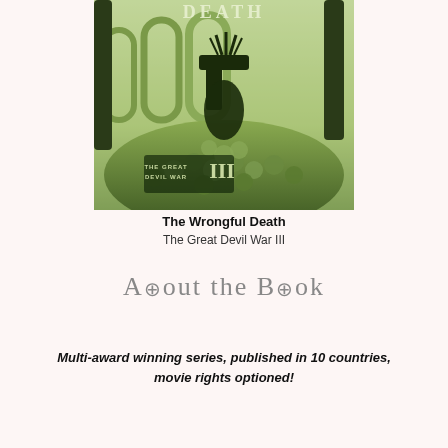[Figure (illustration): Dark fantasy book cover with a figure seated atop a massive mound of skulls in a green-tinted gothic setting. Title 'DEATH' visible at top, with text 'THE GREAT DEVIL WAR III' at bottom of cover.]
The Wrongful Death
The Great Devil War III
About the Book
Multi-award winning series, published in 10 countries, movie rights optioned!